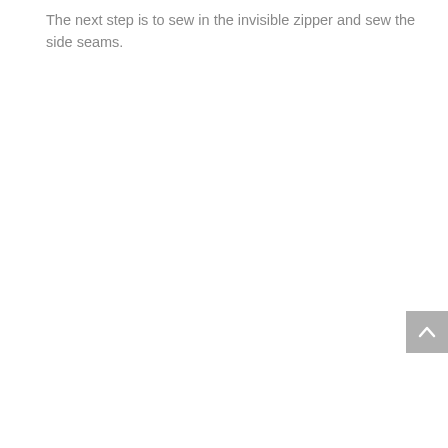The next step is to sew in the invisible zipper and sew the side seams.
[Figure (other): Back to top button: a grey square button with a white upward chevron arrow icon]